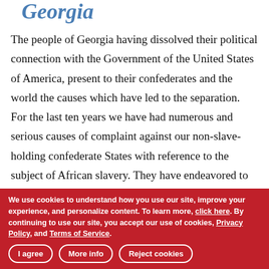Georgia
The people of Georgia having dissolved their political connection with the Government of the United States of America, present to their confederates and the world the causes which have led to the separation. For the last ten years we have had numerous and serious causes of complaint against our non-slave-holding confederate States with reference to the subject of African slavery. They have endeavored to weaken our security, to disturb our domestic peace and tranquility, and persistently refused to comply with their express constitutional obligations to us in reference to that property, and by the use of their power in the Federal Government have striven to deprive us of an equal enjoyment of the common Territories of the Republic. This hostile policy
We use cookies to understand how you use our site, improve your experience, and personalize content. To learn more, click here. By continuing to use our site, you accept our use of cookies, Privacy Policy, and Terms of Service.